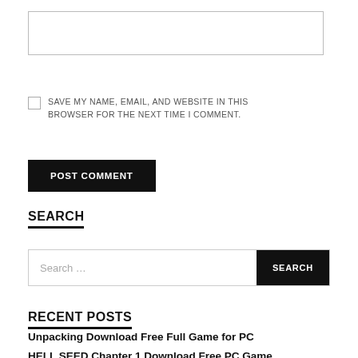[Figure (screenshot): An empty text input field with a light grey border]
SAVE MY NAME, EMAIL, AND WEBSITE IN THIS BROWSER FOR THE NEXT TIME I COMMENT.
POST COMMENT
SEARCH
Search ...
RECENT POSTS
Unpacking Download Free Full Game for PC
HELL SEED Chapter 1 Download Free PC Game